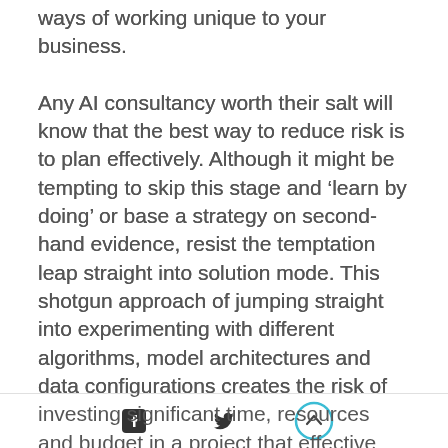ways of working unique to your business.
Any AI consultancy worth their salt will know that the best way to reduce risk is to plan effectively. Although it might be tempting to skip this stage and ‘learn by doing’ or base a strategy on second-hand evidence, resist the temptation leap straight into solution mode. This shotgun approach of jumping straight into experimenting with different algorithms, model architectures and data configurations creates the risk of investing significant time, resources and budget in a project that effective planning may have revealed was not viable from the outset for several reasons: not technically feasible, absence of fundamental pre-
[social icons: Facebook, Twitter, scroll-to-top]